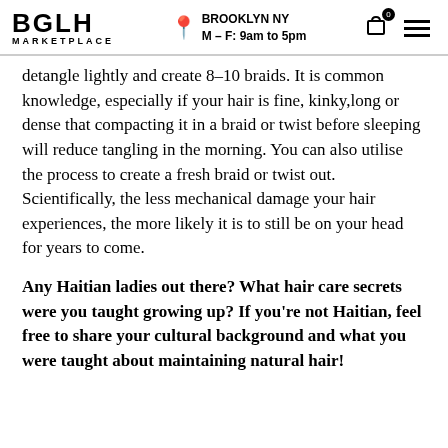BGLH MARKETPLACE | BROOKLYN NY M–F: 9am to 5pm
detangle lightly and create 8–10 braids. It is common knowledge, especially if your hair is fine, kinky,long or dense that compacting it in a braid or twist before sleeping will reduce tangling in the morning. You can also utilise the process to create a fresh braid or twist out. Scientifically, the less mechanical damage your hair experiences, the more likely it is to still be on your head for years to come.
Any Haitian ladies out there? What hair care secrets were you taught growing up? If you're not Haitian, feel free to share your cultural background and what you were taught about maintaining natural hair!